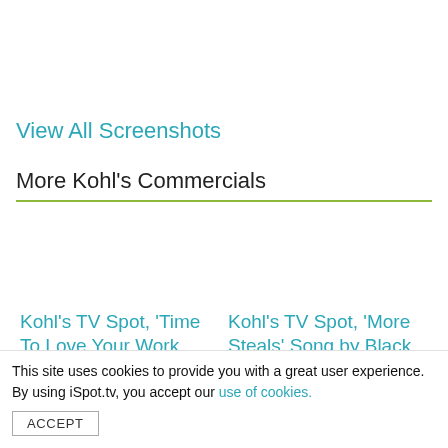View All Screenshots
More Kohl's Commercials
Kohl's TV Spot, 'Time To Love Your Work
Kohl's TV Spot, 'More Steals' Song by Black
This site uses cookies to provide you with a great user experience. By using iSpot.tv, you accept our use of cookies.
ACCEPT